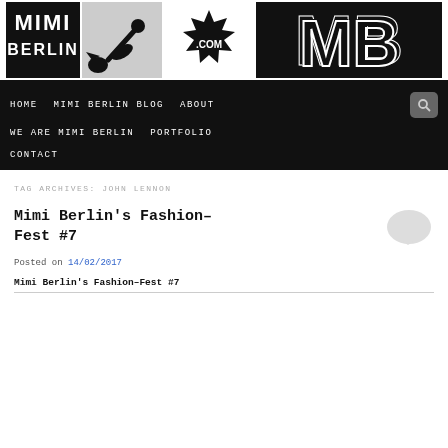[Figure (logo): Mimi Berlin logo header with four panels: MIMI BERLIN text logo, illustrated hand/figure on grey, .COM starburst, and MB letters on black]
HOME   MIMI BERLIN BLOG   ABOUT   WE ARE MIMI BERLIN   PORTFOLIO   CONTACT
TAG ARCHIVES: JOHN LENNON
Mimi Berlin's Fashion–Fest #7
Posted on 14/02/2017
Mimi Berlin's Fashion–Fest #7